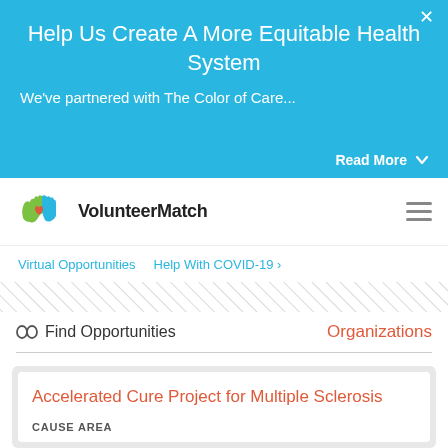Help Us Create A More Equitable Health System
We've partnered with The Color of Care...
Read More
[Figure (logo): VolunteerMatch logo with green and blue hands holding a red heart]
VolunteerMatch
Virtual Opportunities   Help With COVID-19 ›
🔭 Find Opportunities
Organizations
Accelerated Cure Project for Multiple Sclerosis
Cause Area